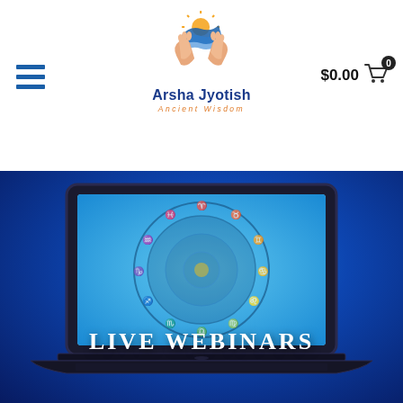$0.00
[Figure (logo): Arsha Jyotish logo with hands holding a sun and blue wave, orange and blue colors]
Arsha Jyotish
Ancient Wisdom
[Figure (photo): Laptop displaying a zodiac/astrology wheel chart on blue background with 'LIVE WEBINARS' text overlay]
[Figure (photo): Pink and purple gradient background with partial face/person visible at bottom]